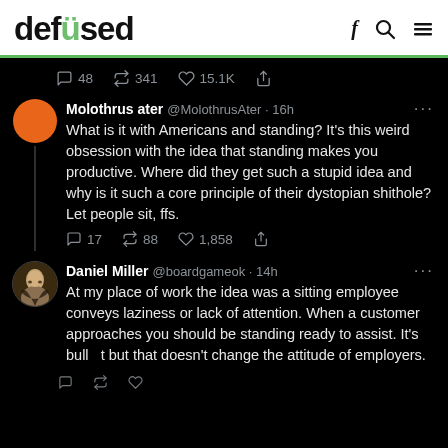defused
[Figure (screenshot): Screenshot of Twitter/X dark-mode thread. First engagement row shows 48 comments, 341 retweets, 15.1K likes. Tweet from Molothrus ater @MolothrusAter 16h: 'What is it with Americans and standing? It's this weird obsession with the idea that standing makes you productive. Where did they get such a stupid idea and why is it such a core principle of their dystopian shithole? Let people sit, ffs.' with 17 comments, 88 retweets, 1,858 likes. Reply from Daniel Miller @boardgameok 14h: 'At my place of work the idea was a sitting employee conveys laziness or lack of attention. When a customer approaches you should be standing ready to assist. It's bull[shit] but that doesn't change the attitude of employers.']